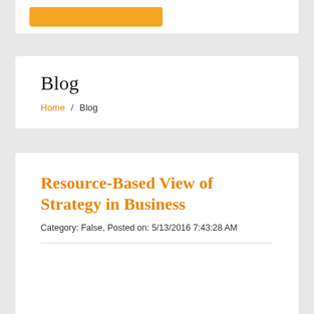[Figure (other): Orange button at top of white card]
Blog
Home / Blog
Resource-Based View of Strategy in Business
Category: False, Posted on: 5/13/2016 7:43:28 AM